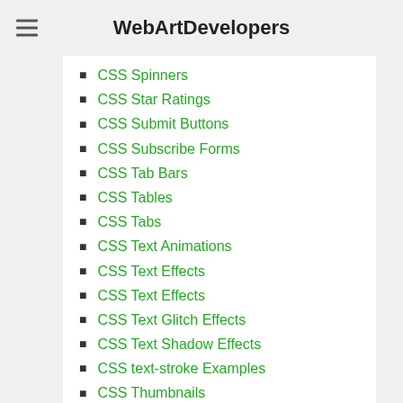WebArtDevelopers
CSS Spinners
CSS Star Ratings
CSS Submit Buttons
CSS Subscribe Forms
CSS Tab Bars
CSS Tables
CSS Tabs
CSS Text Animations
CSS Text Effects
CSS Text Effects
CSS Text Glitch Effects
CSS Text Shadow Effects
CSS text-stroke Examples
CSS Thumbnails